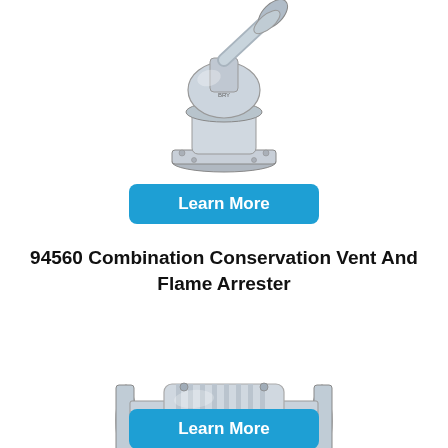[Figure (photo): Photo of a silver/chrome conservation vent valve with angled top pipe and flanged base, partially cropped at top]
Learn More
94560 Combination Conservation Vent And Flame Arrester
[Figure (photo): Photo of a silver/stainless steel inline flame arrester with flanged ends, cylindrical body with ribbed center section]
Learn More